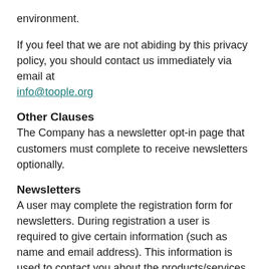environment.
If you feel that we are not abiding by this privacy policy, you should contact us immediately via email at info@toople.org
Other Clauses
The Company has a newsletter opt-in page that customers must complete to receive newsletters optionally.
Newsletters
A user may complete the registration form for newsletters. During registration a user is required to give certain information (such as name and email address). This information is used to contact you about the products/services on our site in which you have expressed interest. At your option, you may also provide demographic information (such as gender or age) about